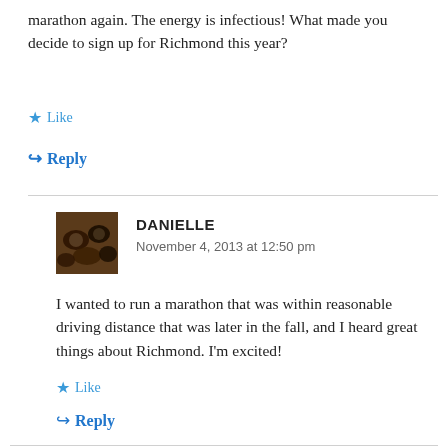marathon again. The energy is infectious! What made you decide to sign up for Richmond this year?
Like
Reply
DANIELLE
November 4, 2013 at 12:50 pm
I wanted to run a marathon that was within reasonable driving distance that was later in the fall, and I heard great things about Richmond. I'm excited!
Like
Reply